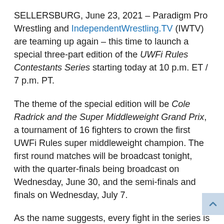SELLERSBURG, June 23, 2021 – Paradigm Pro Wrestling and IndependentWrestling.TV (IWTV) are teaming up again – this time to launch a special three-part edition of the UWFi Rules Contestants Series starting today at 10 p.m. ET / 7 p.m. PT.
The theme of the special edition will be Cole Radrick and the Super Middleweight Grand Prix, a tournament of 16 fighters to crown the first UWFi Rules super middleweight champion. The first round matches will be broadcast tonight, with the quarter-finals being broadcast on Wednesday, June 30, and the semi-finals and finals on Wednesday, July 7.
As the name suggests, every fight in the series is contested under UWFi rules. Paradigm Pro Wrestling often uses a modernized version of the rule set from the now defunct Union of Professional Wrestling Forces International promotion in Japan. UWFi Rules are essentially a hybrid of traditional professional wrestling and mixed martial arts. The main difference is that under UWFi rules there are no drops –